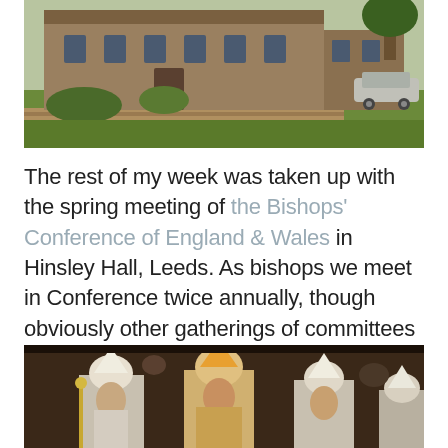[Figure (photo): Exterior view of Hinsley Hall, a large stone building with green lawns, hedges, and a parked silver car visible to the right.]
The rest of my week was taken up with the spring meeting of the Bishops' Conference of England & Wales in Hinsley Hall, Leeds. As bishops we meet in Conference twice annually, though obviously other gatherings of committees etc take place throughout the year.
[Figure (photo): Group of Catholic bishops in ceremonial white mitres and vestments processing inside a church.]